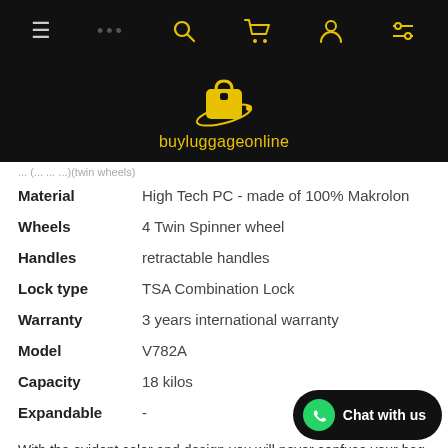[Figure (logo): buyluggageonline website logo — yellow shopping bag with orbit ring and yellow text 'buyluggageonline' on black background]
| Material | High Tech PC - made of 100% Makrolon |
| Wheels | 4 Twin Spinner wheel |
| Handles | retractable handles |
| Lock type | TSA Combination Lock |
| Warranty | 3 years international warranty |
| Model | V782A |
| Capacity | 18 kilos |
| Expandable | - |
With the evident color and design you will never confuse your bag at the luggage carousel. This PC embossed eminent stands out due to the unique design and contou enough to resist abuse due to mishandling. It's three dimensional